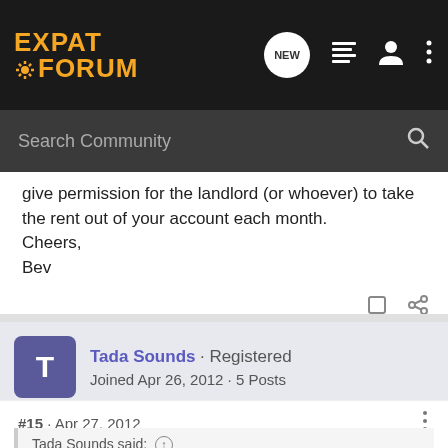[Figure (screenshot): Expat Forum navigation bar with logo, new message icon, list icon, user icon, and more options icon]
[Figure (screenshot): Search Community search bar with magnifying glass icon]
give permission for the landlord (or whoever) to take the rent out of your account each month.
Cheers,
Bev
Tada Sounds · Registered
Joined Apr 26, 2012 · 5 Posts
#15 · Apr 27, 2012
Tada Sounds said: ↑
Hi Bev and Nom